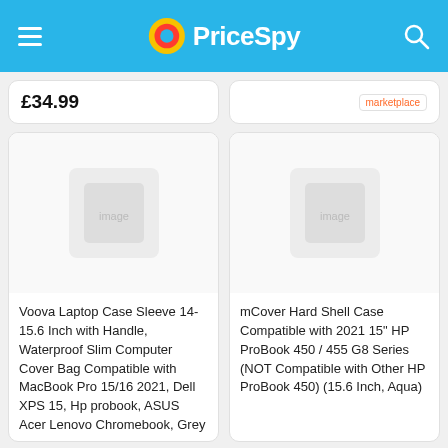PriceSpy
£34.99
marketplace
[Figure (photo): Product image placeholder for laptop sleeve]
[Figure (photo): Product image placeholder for laptop hard shell case]
Voova Laptop Case Sleeve 14-15.6 Inch with Handle, Waterproof Slim Computer Cover Bag Compatible with MacBook Pro 15/16 2021, Dell XPS 15, Hp probook, ASUS Acer Lenovo Chromebook, Grey
mCover Hard Shell Case Compatible with 2021 15" HP ProBook 450 / 455 G8 Series (NOT Compatible with Other HP ProBook 450) (15.6 Inch, Aqua)